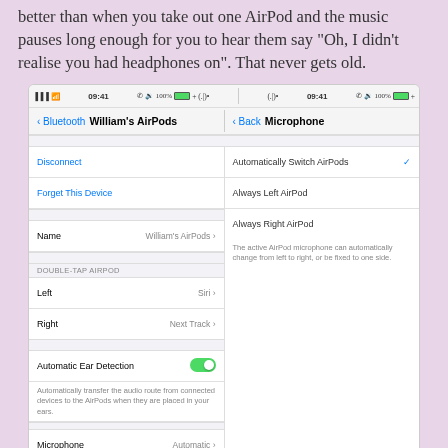better than when you take out one AirPod and the music pauses long enough for you to hear them say “Oh, I didn’t realise you had headphones on”. That never gets old.
[Figure (screenshot): iOS Settings screenshot showing William's AirPods settings on the left panel (Disconnect, Forget This Device, Name: William's AirPods, DOUBLE-TAP AIRPOD: Left-Siri, Right-Next Track, Automatic Ear Detection toggle ON, Microphone: Automatic) and Microphone settings on the right panel (Automatically Switch AirPods with checkmark, Always Left AirPod, Always Right AirPod, with description text).]